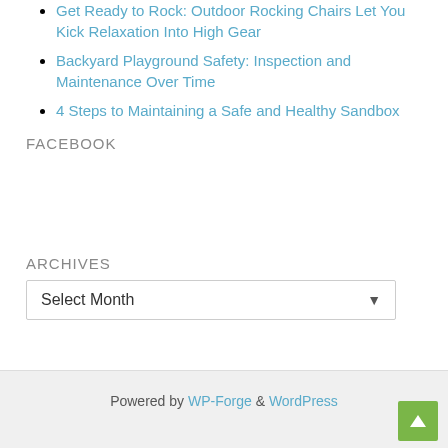Get Ready to Rock: Outdoor Rocking Chairs Let You Kick Relaxation Into High Gear
Backyard Playground Safety: Inspection and Maintenance Over Time
4 Steps to Maintaining a Safe and Healthy Sandbox
FACEBOOK
ARCHIVES
Select Month
Powered by WP-Forge & WordPress